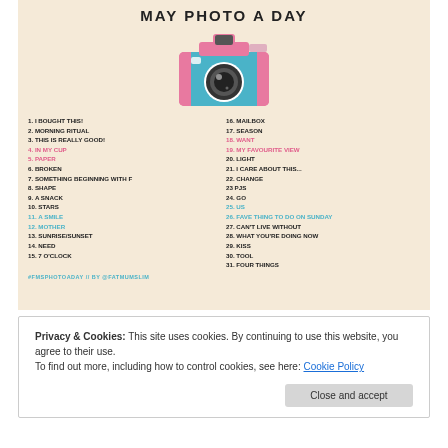MAY PHOTO A DAY
[Figure (illustration): Illustration of a pink and blue retro camera]
1. I BOUGHT THIS!
2. MORNING RITUAL
3. THIS IS REALLY GOOD!
4. IN MY CUP
5. PAPER
6. BROKEN
7. SOMETHING BEGINNING WITH F
8. SHAPE
9. A SNACK
10. STARS
11. A SMILE
12. MOTHER
13. SUNRISE/SUNSET
14. NEED
15. 7 O'CLOCK
16. MAILBOX
17. SEASON
18. WANT
19. MY FAVOURITE VIEW
20. LIGHT
21. I CARE ABOUT THIS...
22. CHANGE
23. PJs
24. GO
25. US
26. FAVE THING TO DO ON SUNDAY
27. CAN'T LIVE WITHOUT
28. WHAT YOU'RE DOING NOW
29. KISS
30. TOOL
31. FOUR THINGS
#FMSPHOTOADAY // BY @FATMUMSLIM
Privacy & Cookies: This site uses cookies. By continuing to use this website, you agree to their use. To find out more, including how to control cookies, see here: Cookie Policy
Close and accept